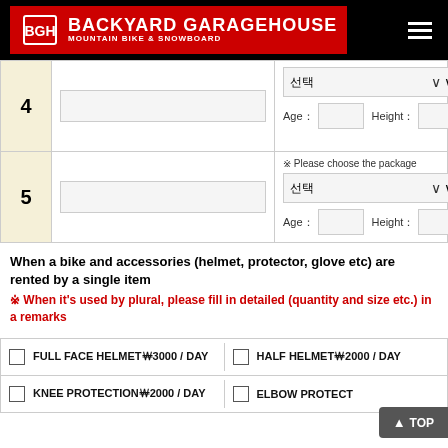BACKYARD GARAGE HOUSE MOUNTAIN BIKE & SNOWBOARD
| # | Name | Options |
| --- | --- | --- |
| 4 | [text input] | 선택 (dropdown), Age: [input], Height: [input] |
| 5 | [text input] | Please choose the package / 선택 (dropdown), Age: [input], Height: [input] |
When a bike and accessories (helmet, protector, glove etc) are rented by a single item
※ When it's used by plural, please fill in detailed (quantity and size etc.) in a remarks
| Item | Item |
| --- | --- |
| FULL FACE HELMET￦3000 / DAY | HALF HELMET￦2000 / DAY |
| KNEE PROTECTION￦2000 / DAY | ELBOW PROTECT... |